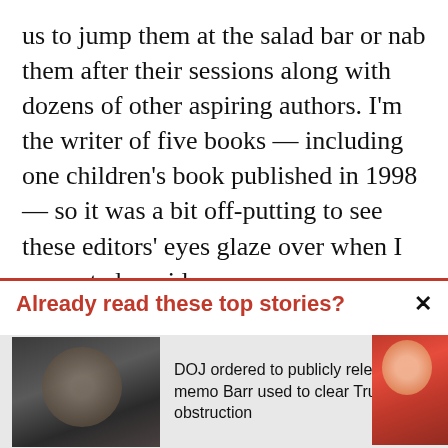us to jump them at the salad bar or nab them after their sessions along with dozens of other aspiring authors. I'm the writer of five books — including one children's book published in 1998 — so it was a bit off-putting to see these editors' eyes glaze over when I presented my ideas.

I began to realize we inhabit different worlds. First, there was no mention at the Maryland conference about religious and home-
Already read these top stories?
[Figure (photo): Photo of William Barr wearing glasses]
DOJ ordered to publicly release memo Barr used to clear Trump of obstruction
[Figure (photo): Photo of a woman in a red jacket]